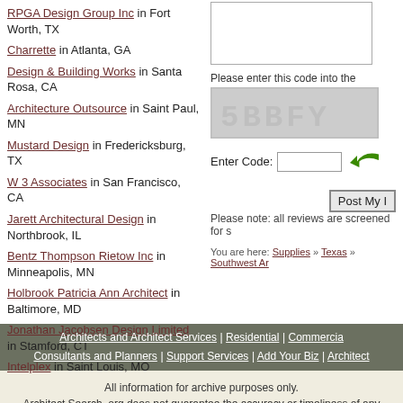RPGA Design Group Inc in Fort Worth, TX
Charrette in Atlanta, GA
Design & Building Works in Santa Rosa, CA
Architecture Outsource in Saint Paul, MN
Mustard Design in Fredericksburg, TX
W 3 Associates in San Francisco, CA
Jarett Architectural Design in Northbrook, IL
Bentz Thompson Rietow Inc in Minneapolis, MN
Holbrook Patricia Ann Architect in Baltimore, MD
Jonathan Jacobsen Design Limited in Stamford, CT
Intelplex in Saint Louis, MO
[Figure (screenshot): CAPTCHA image showing text '5BBFY' in gray distorted font on gray dotted background]
Please enter this code into the
Enter Code:
Post My
Please note: all reviews are screened for s
You are here: Supplies » Texas » Southwest Ar
Architects and Architect Services | Residential | Commercial | Consultants and Planners | Support Services | Add Your Biz | Architect
All information for archive purposes only. Architect Search .org does not guarantee the accuracy or timeliness of any information on this site. Use at your own risk.